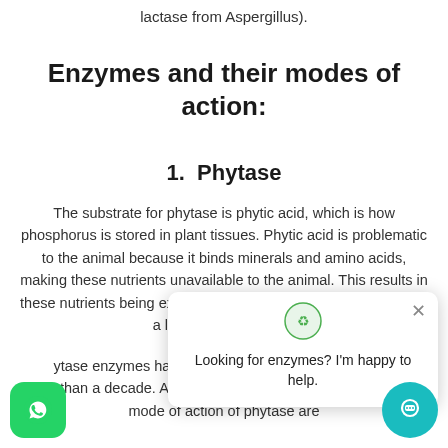lactase from Aspergillus).
Enzymes and their modes of action:
1.  Phytase
The substrate for phytase is phytic acid, which is how phosphorus is stored in plant tissues. Phytic acid is problematic to the animal because it binds minerals and amino acids, making these nutrients unavailable to the animal. This results in these nutrients being excreted into the environment, resulting in a loss in performance.
Phytase enzymes have been added to monogastric diets for more than a decade. As previously stated, the primary goal and mode of action of phytase are